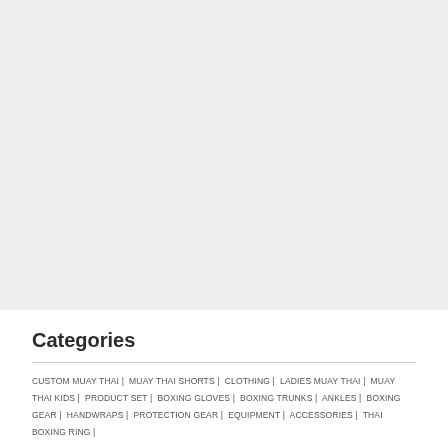[Figure (photo): Large gray/white empty image area occupying the top portion of the page]
Categories
CUSTOM MUAY THAI |  MUAY THAI SHORTS |  CLOTHING |  LADIES MUAY THAI |  MUAY THAI KIDS |  PRODUCT SET |  BOXING GLOVES |  BOXING TRUNKS |  ANKLES |  BOXING GEAR |  HANDWRAPS |  PROTECTION GEAR |  EQUIPMENT |  ACCESSORIES |  THAI BOXING RING |